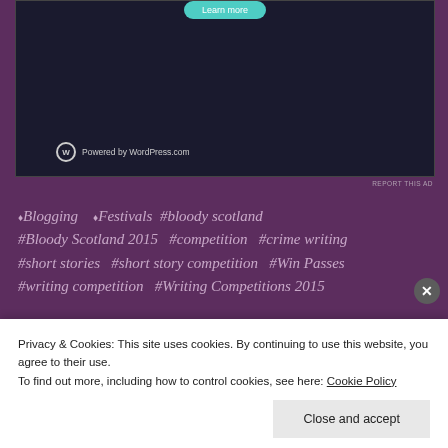[Figure (screenshot): Advertisement box with teal 'Learn More' button and 'Powered by WordPress.com' text on dark background]
REPORT THIS AD
◆Blogging  ◆Festivals  #bloody scotland  #Bloody Scotland 2015  #competition  #crime writing  #short stories  #short story competition  #Win Passes  #writing competition  #Writing Competitions 2015
LEAVE A COMMENT
Privacy & Cookies: This site uses cookies. By continuing to use this website, you agree to their use.
To find out more, including how to control cookies, see here: Cookie Policy
Close and accept